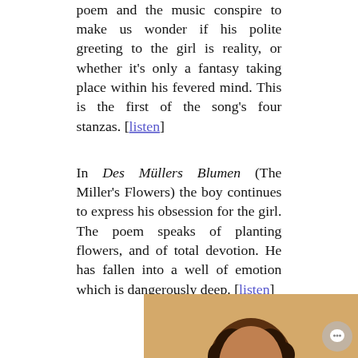poem and the music conspire to make us wonder if his polite greeting to the girl is reality, or whether it's only a fantasy taking place within his fevered mind. This is the first of the song's four stanzas. [listen]
In Des Müllers Blumen (The Miller's Flowers) the boy continues to express his obsession for the girl. The poem speaks of planting flowers, and of total devotion. He has fallen into a well of emotion which is dangerously deep. [listen]
[Figure (photo): A person with curly dark hair photographed from the shoulders up, with a warm golden/orange background. A chat bubble icon is visible in the lower right corner.]